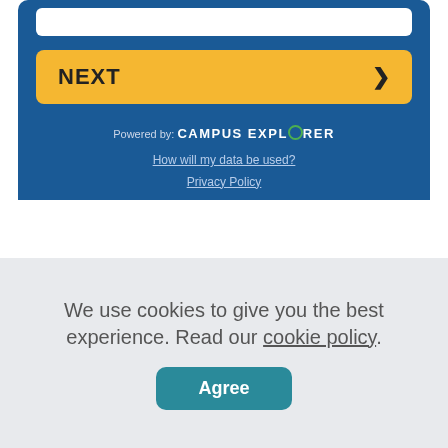[Figure (screenshot): Blue panel with input bar at top, yellow NEXT button with arrow, powered by Campus Explorer text, and data/privacy links]
Powered by: CAMPUS EXPLORER
How will my data be used?
Privacy Policy
We use cookies to give you the best experience. Read our cookie policy.
Agree